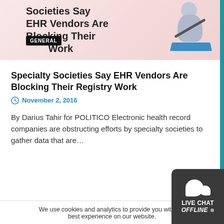[Figure (illustration): Banner image showing a 3D cartoon figure writing with a pen on paper, with pink/salmon background. Text overlay reads 'Specialty Societies Say EHR Vendors Are Blocking Their Registry Work' with a black GENERAL badge.]
Specialty Societies Say EHR Vendors Are Blocking Their Registry Work
November 2, 2016
By Darius Tahir for POLITICO Electronic health record companies are obstructing efforts by specialty societies to gather data that are...
We use cookies and analytics to provide you with the best experience on our website.